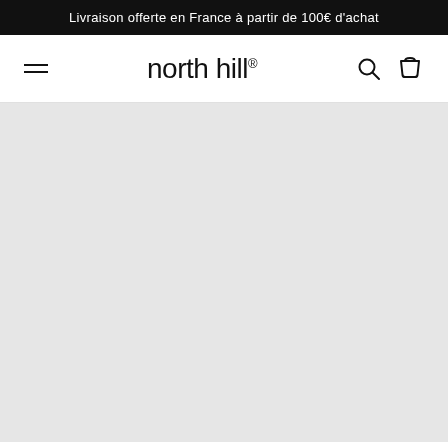Livraison offerte en France à partir de 100€ d'achat
north hill®
[Figure (screenshot): Large grey/light background area representing a loading or empty content section of the North Hill e-commerce website]